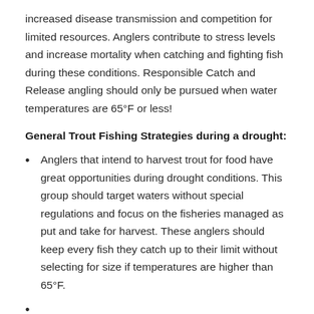increased disease transmission and competition for limited resources. Anglers contribute to stress levels and increase mortality when catching and fighting fish during these conditions. Responsible Catch and Release angling should only be pursued when water temperatures are 65°F or less!
General Trout Fishing Strategies during a drought:
Anglers that intend to harvest trout for food have great opportunities during drought conditions. This group should target waters without special regulations and focus on the fisheries managed as put and take for harvest. These anglers should keep every fish they catch up to their limit without selecting for size if temperatures are higher than 65°F.
Anglers that are pursuing catch and release